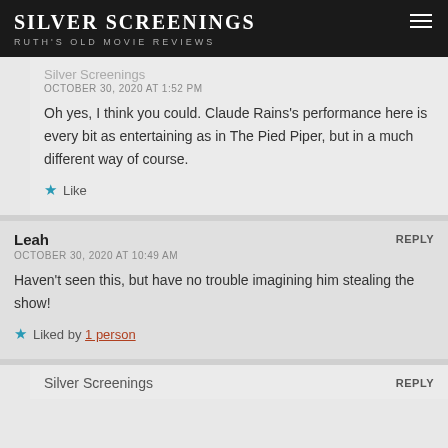SILVER SCREENINGS — RUTH'S OLD MOVIE REVIEWS
Silver Screenings
OCTOBER 30, 2020 AT 1:52 PM
Oh yes, I think you could. Claude Rains's performance here is every bit as entertaining as in The Pied Piper, but in a much different way of course.
★ Like
Leah
OCTOBER 30, 2020 AT 10:49 AM
Haven't seen this, but have no trouble imagining him stealing the show!
★ Liked by 1 person
Silver Screenings